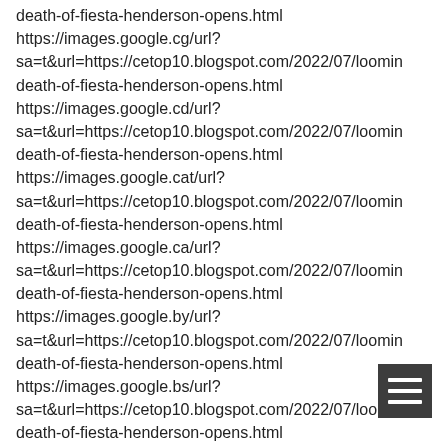death-of-fiesta-henderson-opens.html
https://images.google.cg/url?
sa=t&url=https://cetop10.blogspot.com/2022/07/loomin...
death-of-fiesta-henderson-opens.html
https://images.google.cd/url?
sa=t&url=https://cetop10.blogspot.com/2022/07/loomin...
death-of-fiesta-henderson-opens.html
https://images.google.cat/url?
sa=t&url=https://cetop10.blogspot.com/2022/07/loomin...
death-of-fiesta-henderson-opens.html
https://images.google.ca/url?
sa=t&url=https://cetop10.blogspot.com/2022/07/loomin...
death-of-fiesta-henderson-opens.html
https://images.google.by/url?
sa=t&url=https://cetop10.blogspot.com/2022/07/loomin...
death-of-fiesta-henderson-opens.html
https://images.google.bs/url?
sa=t&url=https://cetop10.blogspot.com/2022/07/loomin...
death-of-fiesta-henderson-opens.html
https://images.google.bi/url?
sa=t&url=https://cetop10.blogspot.com/2022/07/loomin...
[Figure (other): Dark grey hamburger menu button icon (three horizontal lines) in bottom right corner]